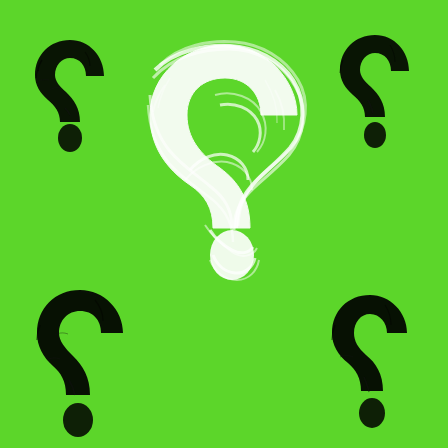[Figure (illustration): Green background with four large hand-drawn black question marks in the corners and a large white scribbled question mark shape in the center. The question marks are drawn in a rough, sketchy style with visible brush strokes.]